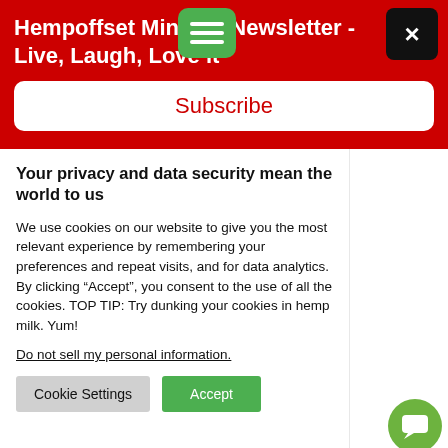Hempoffset Mindset Newsletter - Live, Laugh, Love it
Subscribe
Your privacy and data security mean the world to us
We use cookies on our website to give you the most relevant experience by remembering your preferences and repeat visits, and for data analytics. By clicking “Accept”, you consent to the use of all the cookies. TOP TIP: Try dunking your cookies in hemp milk. Yum!
Do not sell my personal information.
Cookie Settings
Accept
a better, fairer or everybody.
e across the is will mean and research. uld serve ots here. should he crop’s